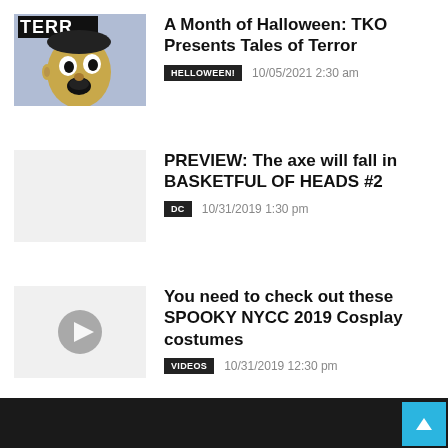[Figure (photo): Book/comic cover thumbnail showing a face screaming with stylized yellow and blue tones, partial text 'TERR' visible at top]
A Month of Halloween: TKO Presents Tales of Terror
HELLOWEEN!   10/05/2021 2:30 am
[Figure (photo): Gray placeholder thumbnail for article]
PREVIEW: The axe will fall in BASKETFUL OF HEADS #2
DC   10/31/2019 1:30 pm
[Figure (photo): Gray placeholder thumbnail with video play button icon]
You need to check out these SPOOKY NYCC 2019 Cosplay costumes
VIDEOS   10/31/2019 12:30 pm